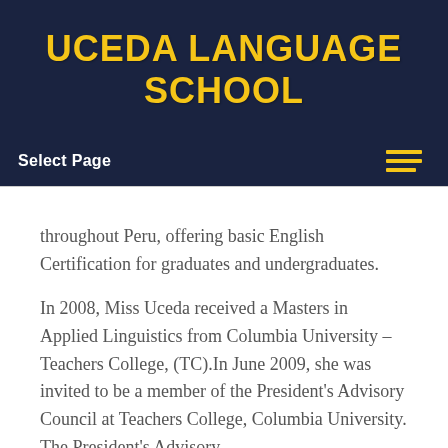UCEDA LANGUAGE SCHOOL
Select Page
throughout Peru, offering basic English Certification for graduates and undergraduates.
In 2008, Miss Uceda received a Masters in Applied Linguistics from Columbia University – Teachers College, (TC).In June 2009, she was invited to be a member of the President's Advisory Council at Teachers College, Columbia University. The President's Advisory